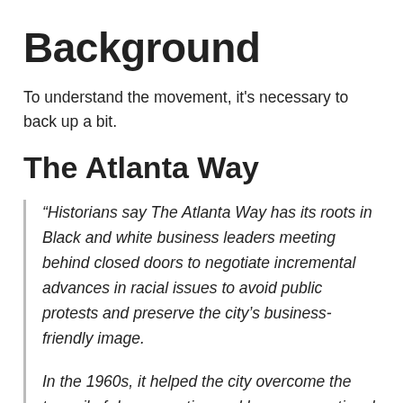Background
To understand the movement, it's necessary to back up a bit.
The Atlanta Way
“Historians say The Atlanta Way has its roots in Black and white business leaders meeting behind closed doors to negotiate incremental advances in racial issues to avoid public protests and preserve the city’s business-friendly image.

In the 1960s, it helped the city overcome the turmoil of desegregation and become a national